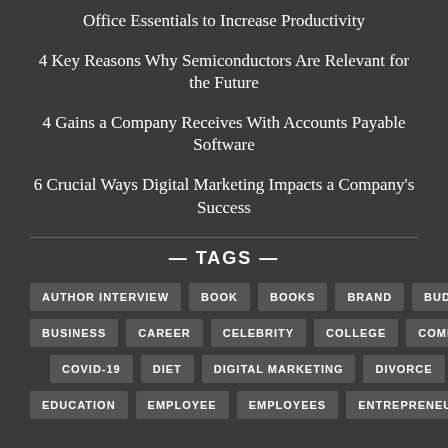Office Essentials to Increase Productivity
4 Key Reasons Why Semiconductors Are Relevant for the Future
4 Gains a Company Receives With Accounts Payable Software
6 Crucial Ways Digital Marketing Impacts a Company's Success
— TAGS —
AUTHOR INTERVIEW
BOOK
BOOKS
BRAND
BUDGET
BUSINESS
CAREER
CELEBRITY
COLLEGE
COMPANY
COVID-19
DIET
DIGITAL MARKETING
DIVORCE
EDUCATION
EMPLOYEE
EMPLOYEES
ENTREPRENEURS